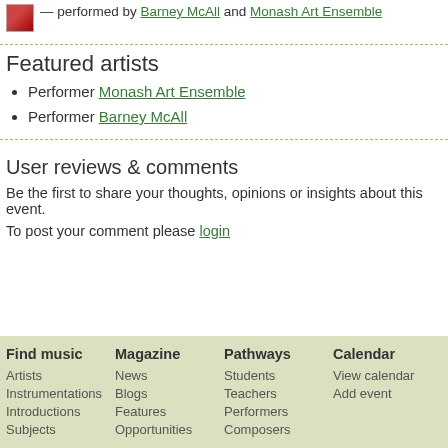— performed by Barney McAll and Monash Art Ensemble
Featured artists
Performer Monash Art Ensemble
Performer Barney McAll
User reviews & comments
Be the first to share your thoughts, opinions or insights about this event.
To post your comment please login
Find music
Artists
Instrumentations
Introductions
Subjects
Magazine
News
Blogs
Features
Opportunities
Pathways
Students
Teachers
Performers
Composers
Calendar
View calendar
Add event